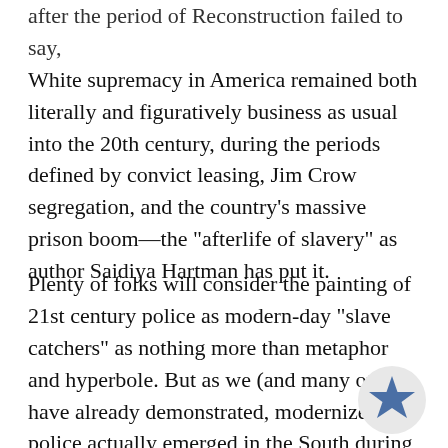after the period of Reconstruction failed to say, White supremacy in America remained both literally and figuratively business as usual into the 20th century, during the periods defined by convict leasing, Jim Crow segregation, and the country's massive prison boom—the "afterlife of slavery" as author Saidiya Hartman has put it.
Plenty of folks will consider the painting of 21st century police as modern-day "slave catchers" as nothing more than metaphor and hyperbole. But as we (and many others) have already demonstrated, modernized police actually emerged in the South during slavery—they literally were slave catchers. We would ask those who desire an "accountable" or "just" police force: